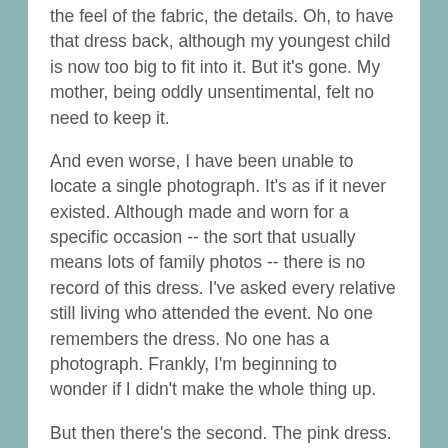the feel of the fabric, the details. Oh, to have that dress back, although my youngest child is now too big to fit into it. But it's gone. My mother, being oddly unsentimental, felt no need to keep it.
And even worse, I have been unable to locate a single photograph. It's as if it never existed. Although made and worn for a specific occasion -- the sort that usually means lots of family photos -- there is no record of this dress. I've asked every relative still living who attended the event. No one remembers the dress. No one has a photograph. Frankly, I'm beginning to wonder if I didn't make the whole thing up.
But then there's the second. The pink dress. One that, once in my own highly sentimental hands, was not going anywhere, that's for sure. Here are photos of my mother wearing it at her brother's wedding on Nov. 19, 1955. She is 19 years old. My grandmother, a designer